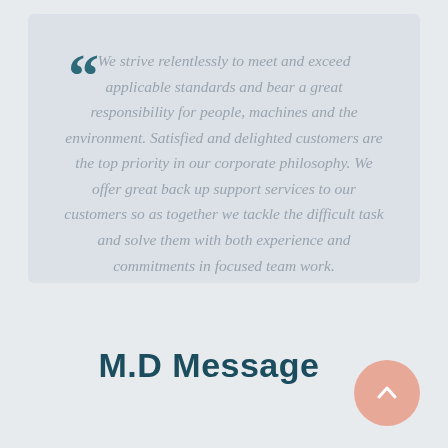We strive relentlessly to meet and exceed applicable standards and bear a great responsibility for people, machines and the environment. Satisfied and delighted customers are the top priority in our corporate philosophy. We offer great back up support services to our customers so as together we tackle the difficult task and solve them with both experience and commitments in focused team work.
M.D Message